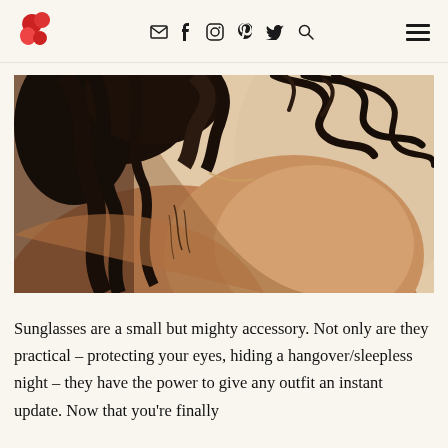Navigation header with logo, social icons (email, facebook, instagram, pinterest, twitter, search), and hamburger menu
[Figure (photo): Close-up photograph of a woman's bare shoulder and upper back with dark curly hair falling loosely, against a warm beige/nude background]
Sunglasses are a small but mighty accessory. Not only are they practical – protecting your eyes, hiding a hangover/sleepless night – they have the power to give any outfit an instant update. Now that you're finally